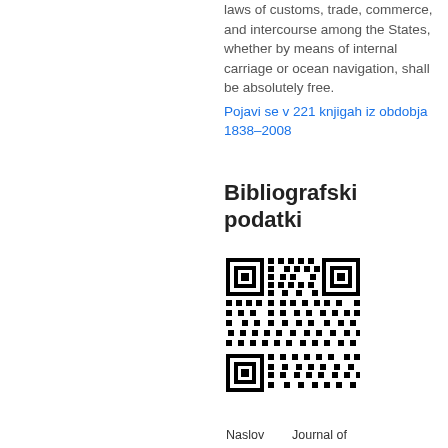laws of customs, trade, commerce, and intercourse among the States, whether by means of internal carriage or ocean navigation, shall be absolutely free.
Pojavi se v 221 knjigah iz obdobja 1838–2008
Bibliografski podatki
[Figure (other): QR code image]
Naslov    Journal of